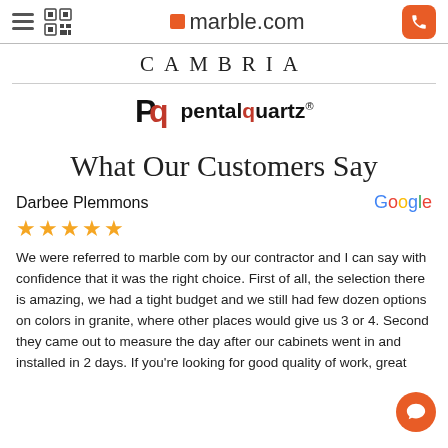marble.com
[Figure (logo): CAMBRIA brand logo in serif spaced lettering]
[Figure (logo): Pental Quartz brand logo with PQ icon]
What Our Customers Say
Darbee Plemmons
★★★★★
We were referred to marble com by our contractor and I can say with confidence that it was the right choice. First of all, the selection there is amazing, we had a tight budget and we still had few dozen options on colors in granite, where other places would give us 3 or 4. Second they came out to measure the day after our cabinets went in and installed in 2 days. If you're looking for good quality of work, great